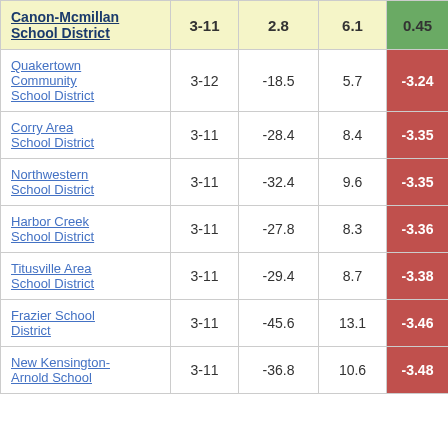| District | Grades | Col3 | Col4 | Score |
| --- | --- | --- | --- | --- |
| Canon-Mcmillan School District | 3-11 | 2.8 | 6.1 | 0.45 |
| Quakertown Community School District | 3-12 | -18.5 | 5.7 | -3.24 |
| Corry Area School District | 3-11 | -28.4 | 8.4 | -3.35 |
| Northwestern School District | 3-11 | -32.4 | 9.6 | -3.35 |
| Harbor Creek School District | 3-11 | -27.8 | 8.3 | -3.36 |
| Titusville Area School District | 3-11 | -29.4 | 8.7 | -3.38 |
| Frazier School District | 3-11 | -45.6 | 13.1 | -3.46 |
| New Kensington-Arnold School | 3-11 | -36.8 | 10.6 | -3.48 |